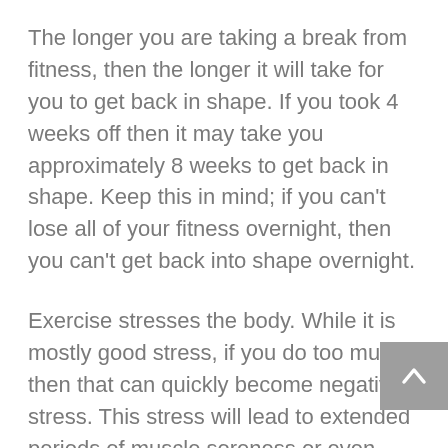The longer you are taking a break from fitness, then the longer it will take for you to get back in shape. If you took 4 weeks off then it may take you approximately 8 weeks to get back in shape. Keep this in mind; if you can't lose all of your fitness overnight, then you can't get back into shape overnight.
Exercise stresses the body. While it is mostly good stress, if you do too much then that can quickly become negative stress. This stress will lead to extended periods of muscle soreness or even stress fractures. Be sure that you pace yourself and don't overdo it, this way in a few months you will feel